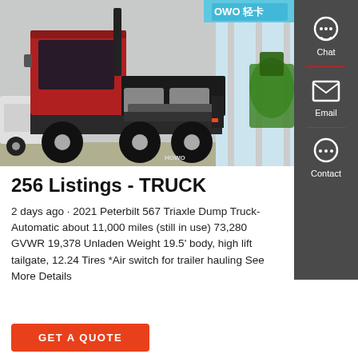[Figure (photo): Red HOWO semi-truck tractor (rear/side view) parked in front of a truck dealership or depot. A concrete mixer truck (green) is visible in the background on the right. The store has a blue sign reading 'OWO 轻卡'. The ground is concrete/pavement.]
256 Listings - TRUCK
2 days ago · 2021 Peterbilt 567 Triaxle Dump Truck- Automatic about 11,000 miles (still in use) 73,280 GVWR 19,378 Unladen Weight 19.5' body, high lift tailgate, 12.24 Tires *Air switch for trailer hauling See More Details
GET A QUOTE